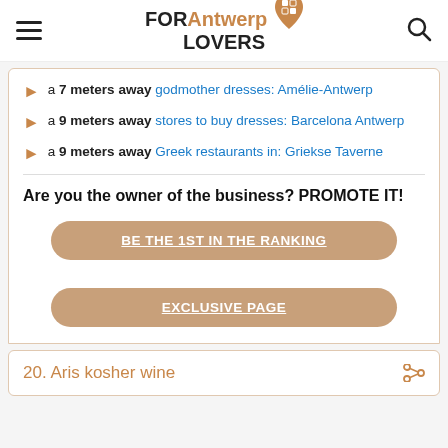FOR Antwerp LOVERS
a 7 meters away godmother dresses: Amélie-Antwerp
a 9 meters away stores to buy dresses: Barcelona Antwerp
a 9 meters away Greek restaurants in: Griekse Taverne
Are you the owner of the business? PROMOTE IT!
BE THE 1ST IN THE RANKING
EXCLUSIVE PAGE
20. Aris kosher wine